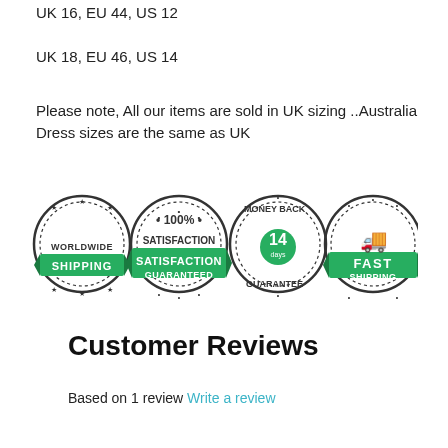UK 16, EU 44, US 12
UK 18, EU 46, US 14
Please note, All our items are sold in UK sizing ..Australia Dress sizes are the same as UK
[Figure (infographic): Four circular badge icons: Worldwide Shipping, 100% Satisfaction Guaranteed, Money Back Guarantee 14 days, Fast Shipping]
Customer Reviews
Based on 1 review Write a review